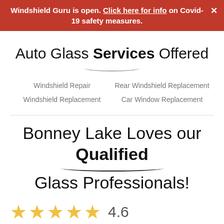Windshield Guru is open. Click here for info on Covid-19 safety measures.
Auto Glass Services Offered
Windshield Repair
Windshield Replacement
Rear Windshield Replacement
Car Window Replacement
Bonney Lake Loves our Qualified Glass Professionals!
4.6
Filter Ratings